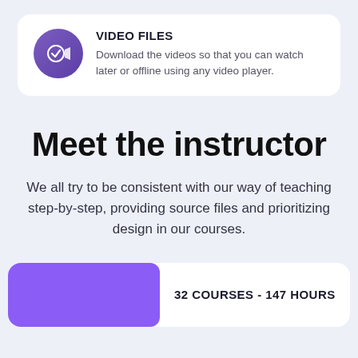[Figure (infographic): Card with purple circle icon showing a video camera/checkmark symbol, with title VIDEO FILES and description text]
VIDEO FILES
Download the videos so that you can watch later or offline using any video player.
Meet the instructor
We all try to be consistent with our way of teaching step-by-step, providing source files and prioritizing design in our courses.
32 COURSES - 147 HOURS